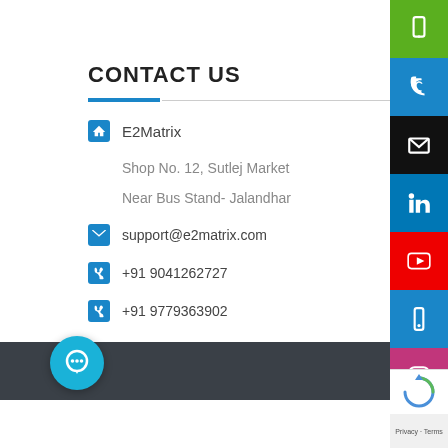CONTACT US
E2Matrix
Shop No. 12, Sutlej Market
Near Bus Stand- Jalandhar
support@e2matrix.com
+91 9041262727
+91 9779363902
[Figure (other): Social media icon buttons sidebar: green mobile icon, blue phone icon, black email icon, LinkedIn icon, YouTube icon, blue mobile icon, Instagram icon, Pinterest icon]
[Figure (other): Chat bubble button at bottom left with white chat icon]
Privacy · Terms